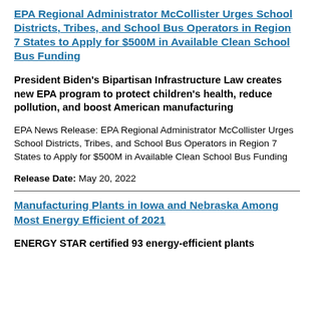EPA Regional Administrator McCollister Urges School Districts, Tribes, and School Bus Operators in Region 7 States to Apply for $500M in Available Clean School Bus Funding
President Biden's Bipartisan Infrastructure Law creates new EPA program to protect children's health, reduce pollution, and boost American manufacturing
EPA News Release: EPA Regional Administrator McCollister Urges School Districts, Tribes, and School Bus Operators in Region 7 States to Apply for $500M in Available Clean School Bus Funding
Release Date: May 20, 2022
Manufacturing Plants in Iowa and Nebraska Among Most Energy Efficient of 2021
ENERGY STAR certified 93 energy-efficient plants